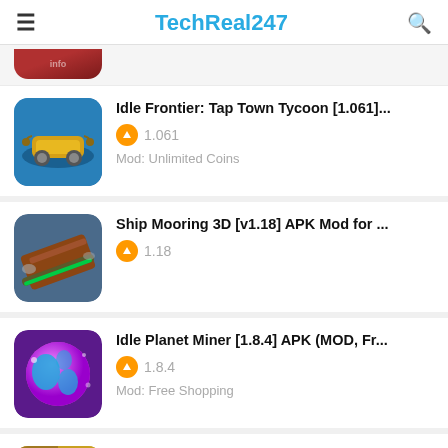TechReal247
Idle Frontier: Tap Town Tycoon [1.061]... | 1.061 | Mod: Unlimited Coins
Ship Mooring 3D [v1.18] APK Mod for ... | 1.18
Idle Planet Miner [1.8.4] APK (MOD, Fr... | 1.8.4 | Mod: Free Shopping
Battle Legion – Mass Battler [1.9.9] AP... | 1.9.9 | Mod: Full MOD